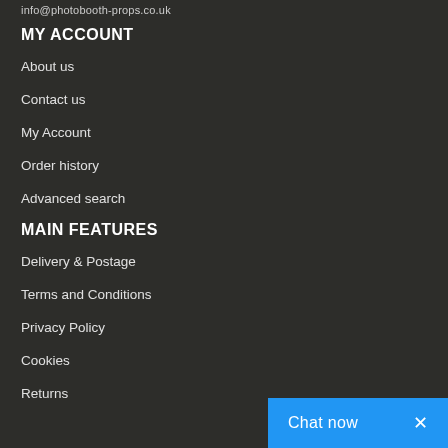info@photobooth-props.co.uk
MY ACCOUNT
About us
Contact us
My Account
Order history
Advanced search
MAIN FEATURES
Delivery & Postage
Terms and Conditions
Privacy Policy
Cookies
Returns